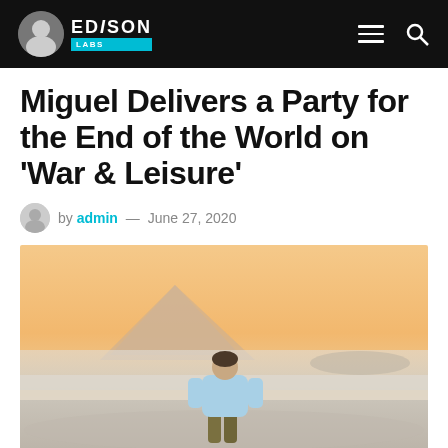Edison Labs
Miguel Delivers a Party for the End of the World on ‘War & Leisure’
by admin — June 27, 2020
[Figure (photo): Person in light blue sweatshirt and olive pants standing on a mountain or high plateau, viewed from behind, facing a misty mountain landscape with peaks and fog, with a warm orange-yellow sky. Dramatic scenic view above the clouds.]